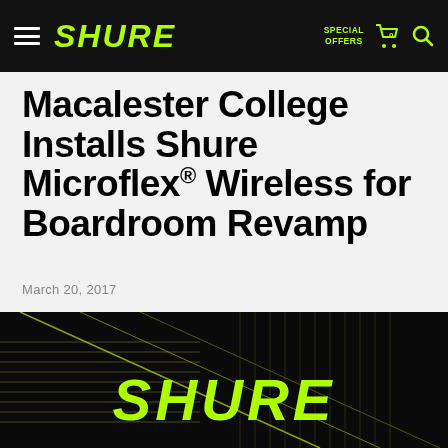SHURE — SPECIAL OFFERS — Cart (0) — Search
Macalester College Installs Shure Microflex® Wireless for Boardroom Revamp
March 20, 2017
[Figure (photo): Dark background with diagonal yellow/green geometric lines and large SHURE logo in lime green text]